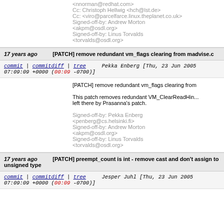<nnorman@redhat.com>
Cc: Christoph Hellwig <hch@lst.de>
Cc: <viro@parcelfarce.linux.theplanet.co.uk>
Signed-off-by: Andrew Morton <akpm@osdl.org>
Signed-off-by: Linus Torvalds <torvalds@osdl.org>
17 years ago  [PATCH] remove redundant vm_flags clearing from madvise.c
commit | commitdiff | tree  Pekka Enberg [Thu, 23 Jun 2005 07:09:09 +0000 (00:09 -0700)]
[PATCH] remove redundant vm_flags clearing from madvise.c

This patch removes redundant VM_ClearReadHint() left there by Prasanna's patch.

Signed-off-by: Pekka Enberg <penberg@cs.helsinki.fi>
Signed-off-by: Andrew Morton <akpm@osdl.org>
Signed-off-by: Linus Torvalds <torvalds@osdl.org>
17 years ago  [PATCH] preempt_count is int - remove cast and don't assign to unsigned type
commit | commitdiff | tree  Jesper Juhl [Thu, 23 Jun 2005 07:09:09 +0000 (00:09 -0700)]